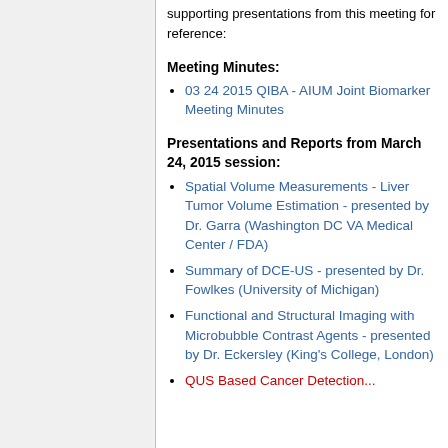supporting presentations from this meeting for reference:
Meeting Minutes:
03 24 2015 QIBA - AIUM Joint Biomarker Meeting Minutes
Presentations and Reports from March 24, 2015 session:
Spatial Volume Measurements - Liver Tumor Volume Estimation - presented by Dr. Garra (Washington DC VA Medical Center / FDA)
Summary of DCE-US - presented by Dr. Fowlkes (University of Michigan)
Functional and Structural Imaging with Microbubble Contrast Agents - presented by Dr. Eckersley (King's College, London)
QUS Based Cancer Detection...